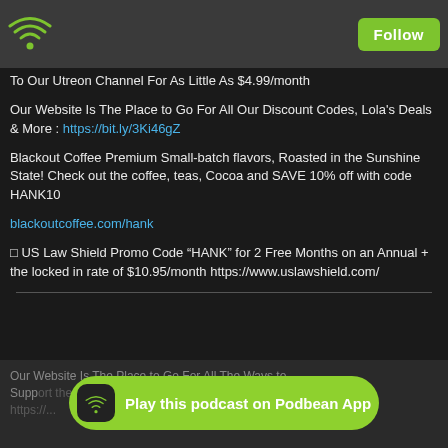Follow
To Our Utreon Channel For As Little As $4.99/month
Our Website Is The Place to Go For All Our Discount Codes, Lola’s Deals & More : https://bit.ly/3Ki46gZ
Blackout Coffee Premium Small-batch flavors, Roasted in the Sunshine State! Check out the coffee, teas, Cocoa and SAVE 10% off with code HANK10
blackoutcoffee.com/hank
□ US Law Shield Promo Code “HANK” for 2 Free Months on an Annual + the locked in rate of $10.95/month https://www.uslawshield.com/
Our Website Is The Place to Go For All The Ways to Support the Show : https://...
Play this podcast on Podbean App